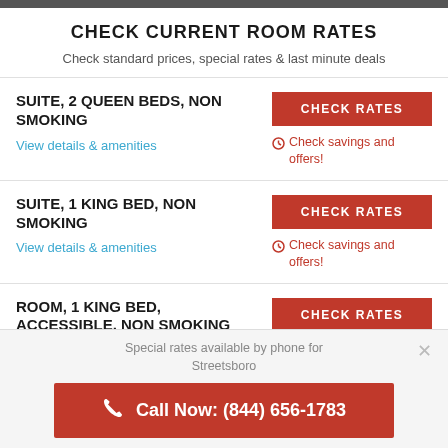CHECK CURRENT ROOM RATES
Check standard prices, special rates & last minute deals
SUITE, 2 QUEEN BEDS, NON SMOKING
View details & amenities
CHECK RATES
Check savings and offers!
SUITE, 1 KING BED, NON SMOKING
View details & amenities
CHECK RATES
Check savings and offers!
ROOM, 1 KING BED, ACCESSIBLE, NON SMOKING
CHECK RATES
Special rates available by phone for Streetsboro
Call Now: (844) 656-1783